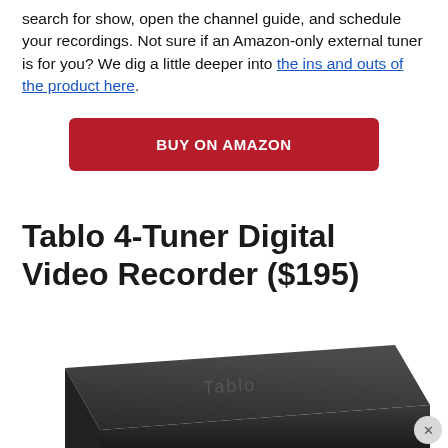search for show, open the channel guide, and schedule your recordings. Not sure if an Amazon-only external tuner is for you? We dig a little deeper into the ins and outs of the product here.
[Figure (other): Red 'BUY ON AMAZON' button]
Tablo 4-Tuner Digital Video Recorder ($195)
[Figure (photo): Photo of a Tablo 4-Tuner Digital Video Recorder device — a flat dark/black rectangular box with the Tablo logo on top, shown at an angle. A close (X) button is visible in the bottom right corner.]